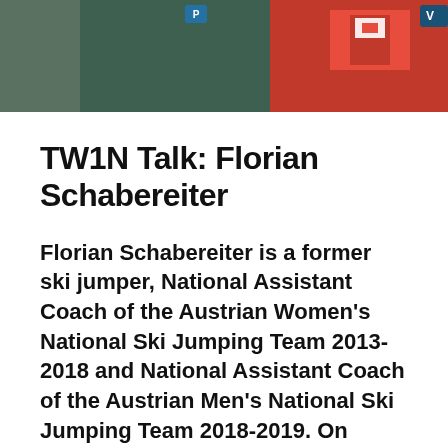[Figure (photo): Photograph of people wearing athletic jerseys, including a red Swiss-style jersey and a teal jersey, partially visible from shoulders up.]
TW1N Talk: Florian Schabereiter
Florian Schabereiter is a former ski jumper, National Assistant Coach of the Austrian Women's National Ski Jumping Team 2013-2018 and National Assistant Coach of the Austrian Men's National Ski Jumping Team 2018-2019. On junior level, he won two world championships. Only granted a short world cup career, Florian had to end his sporting career due to a disease at the young age of 21.